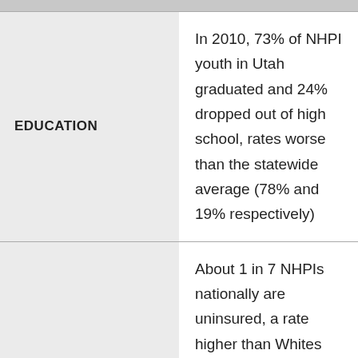EDUCATION
In 2010, 73% of NHPI youth in Utah graduated and 24% dropped out of high school, rates worse than the statewide average (78% and 19% respectively)
HEALTH
About 1 in 7 NHPIs nationally are uninsured, a rate higher than Whites (also Tongans, a NHPI ethnic subgroup, have a rate of about 1 in 4 that do not have insurance).